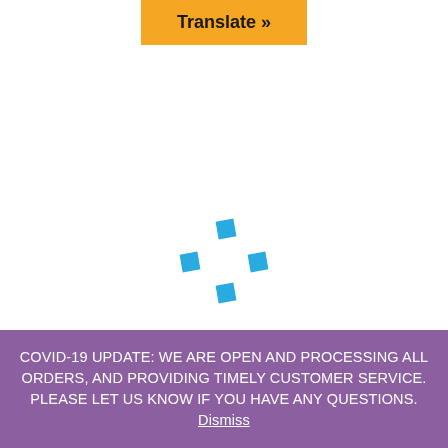[Figure (other): Orange button labeled 'Translate »' at top center of page]
[Figure (other): Blue loading spinner / four-dot cross icon in center of white area]
COVID-19 UPDATE: WE ARE OPEN AND PROCESSING ALL ORDERS, AND PROVIDING TIMELY CUSTOMER SERVICE. PLEASE LET US KNOW IF YOU HAVE ANY QUESTIONS. Dismiss